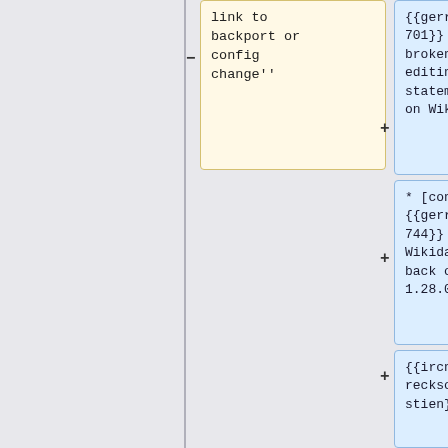[Figure (flowchart): A flowchart/tree diagram showing wiki template nodes. Left side has a yellow box with text 'link to backport or config change'' connected by minus and plus signs to blue boxes on the right. Blue boxes contain: '{{gerrit|296701}} Fix broken editing of statements on Wikidata.', '* [config] {{gerrit|296744}} Put Wikidata back on 1.28.0-wmf.8', '{{ircnick|Dereckson|Sébastien}}', and '* [config] {{gerrit|296419}} Short array syntax for']